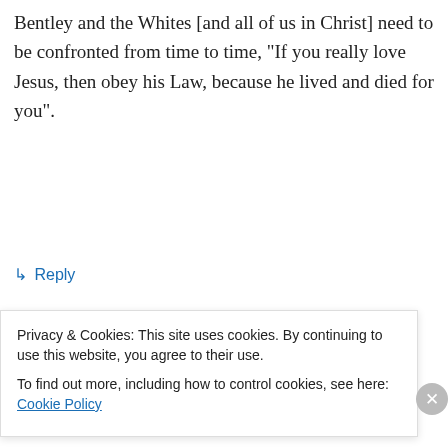Bentley and the Whites [and all of us in Christ] need to be confronted from time to time, “If you really love Jesus, then obey his Law, because he lived and died for you”.
↳ Reply
Advertisements
[Figure (screenshot): WordPress.com advertisement banner with blue background, WordPress logo on left, and pink 'Build Your Website' button on right]
Abe on August 19, 2008 at 4:08 am
Privacy & Cookies: This site uses cookies. By continuing to use this website, you agree to their use.
To find out more, including how to control cookies, see here: Cookie Policy